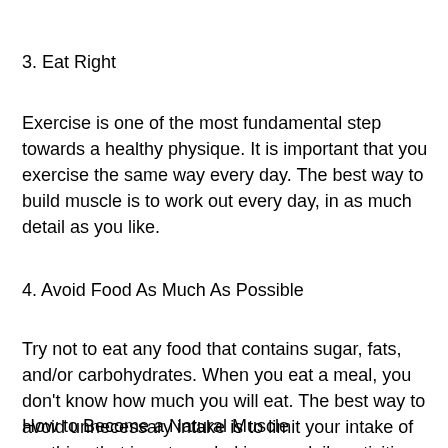3. Eat Right
Exercise is one of the most fundamental step towards a healthy physique. It is important that you exercise the same way every day. The best way to build muscle is to work out every day, in as much detail as you like.
4. Avoid Food As Much As Possible
Try not to eat any food that contains sugar, fats, and/or carbohydrates. When you eat a meal, you don't know how much you will eat. The best way to avoid unnecessary intake is to limit your intake of anything that is not needed in your daily activities.
How to Become a Natural Muscle